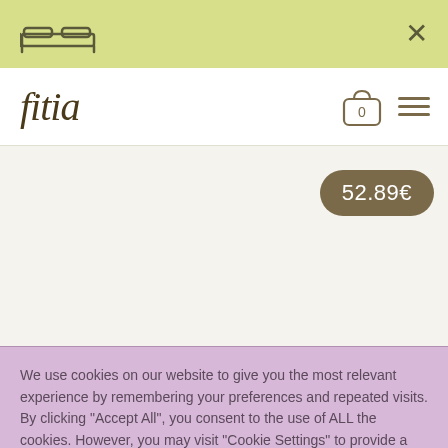[Figure (screenshot): Top yellow-green banner with a bed/furniture icon on the left and an X close button on the right]
fitia
[Figure (other): Shopping bag icon with 0 count and hamburger menu icon in the navigation bar]
52.89€
We use cookies on our website to give you the most relevant experience by remembering your preferences and repeated visits. By clicking "Accept All", you consent to the use of ALL the cookies. However, you may visit "Cookie Settings" to provide a controlled consent.
Configure Cookie
Yes, I Accept